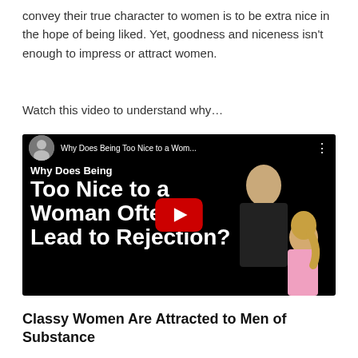convey their true character to women is to be extra nice in the hope of being liked. Yet, goodness and niceness isn't enough to impress or attract women.
Watch this video to understand why…
[Figure (screenshot): YouTube video thumbnail/embed showing title 'Why Does Being Too Nice to a Wom…' with large white bold text overlay reading 'Why Does Being Too Nice to a Woman Often Lead to Rejection?' on a black background, a red YouTube play button in the center, a man smiling on the right side, and a woman with blonde ponytail. Channel avatar shown in top-left corner.]
Classy Women Are Attracted to Men of Substance